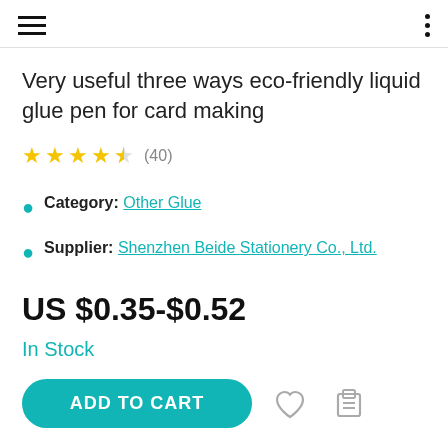navigation header with hamburger menu and dots menu
Very useful three ways eco-friendly liquid glue pen for card making
★★★★½ (40)
Category: Other Glue
Supplier: Shenzhen Beide Stationery Co., Ltd.
US $0.35-$0.52
In Stock
ADD TO CART